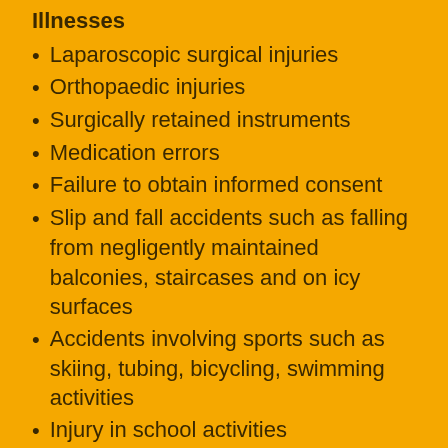Illnesses
Laparoscopic surgical injuries
Orthopaedic injuries
Surgically retained instruments
Medication errors
Failure to obtain informed consent
Slip and fall accidents such as falling from negligently maintained balconies, staircases and on icy surfaces
Accidents involving sports such as skiing, tubing, bicycling, swimming activities
Injury in school activities
Dog attacks
Product liability